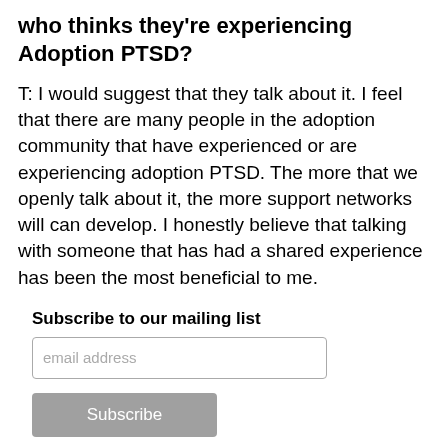who thinks they're experiencing Adoption PTSD?
T:  I would suggest that they talk about it. I feel that there are many people in the adoption community that have experienced or are experiencing adoption PTSD. The more that we openly talk about it, the more support networks will can develop. I honestly believe that talking with someone that has had a shared experience has been the most beneficial to me.
Subscribe to our mailing list
email address
Subscribe